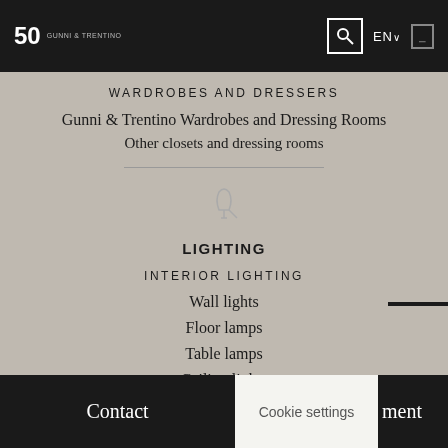Gunni & Trentino — 50 years navigation bar with search, EN language selector, and menu icon
WARDROBES AND DRESSERS
Gunni & Trentino Wardrobes and Dressing Rooms
Other closets and dressing rooms
[Figure (illustration): Lamp / lighting icon in grey outline style]
LIGHTING
INTERIOR LIGHTING
Wall lights
Floor lamps
Table lamps
Ceiling lights
Contact | Cookie settings | ment